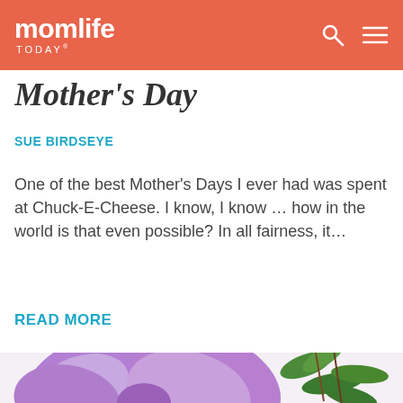momlife TODAY
Mother's Day
SUE BIRDSEYE
One of the best Mother's Days I ever had was spent at Chuck-E-Cheese. I know, I know … how in the world is that even possible? In all fairness, it...
READ MORE
[Figure (photo): Close-up photo of a purple/lavender ribbon bow on a gift, with green leaves and brown flower stems in the background]